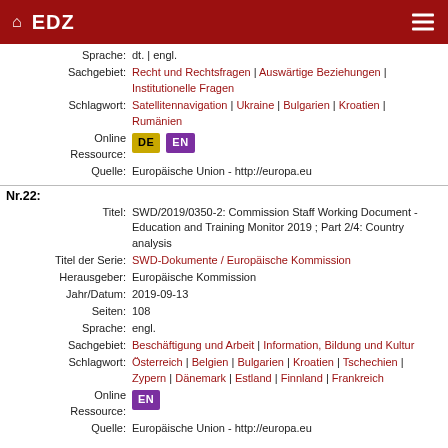EDZ
Sprache: dt. | engl.
Sachgebiet: Recht und Rechtsfragen | Auswärtige Beziehungen | Institutionelle Fragen
Schlagwort: Satellitennavigation | Ukraine | Bulgarien | Kroatien | Rumänien
Online Ressource: DE EN
Quelle: Europäische Union - http://europa.eu
Nr.22:
Titel: SWD/2019/0350-2: Commission Staff Working Document - Education and Training Monitor 2019 ; Part 2/4: Country analysis
Titel der Serie: SWD-Dokumente / Europäische Kommission
Herausgeber: Europäische Kommission
Jahr/Datum: 2019-09-13
Seiten: 108
Sprache: engl.
Sachgebiet: Beschäftigung und Arbeit | Information, Bildung und Kultur
Schlagwort: Österreich | Belgien | Bulgarien | Kroatien | Tschechien | Zypern | Dänemark | Estland | Finnland | Frankreich
Online Ressource: EN
Quelle: Europäische Union - http://europa.eu